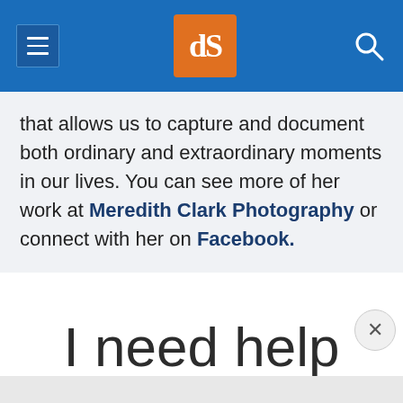dPS [logo] [menu] [search]
that allows us to capture and document both ordinary and extraordinary moments in our lives. You can see more of her work at Meredith Clark Photography or connect with her on Facebook.
I need help with...